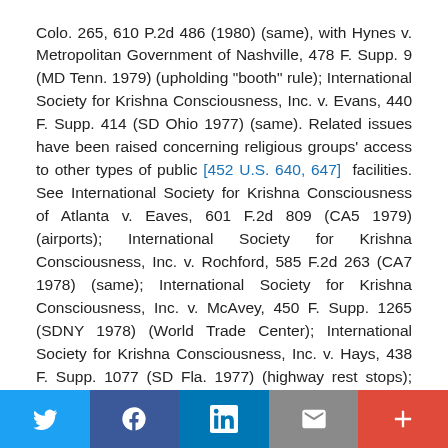Colo. 265, 610 P.2d 486 (1980) (same), with Hynes v. Metropolitan Government of Nashville, 478 F. Supp. 9 (MD Tenn. 1979) (upholding "booth" rule); International Society for Krishna Consciousness, Inc. v. Evans, 440 F. Supp. 414 (SD Ohio 1977) (same). Related issues have been raised concerning religious groups' access to other types of public [452 U.S. 640, 647]  facilities. See International Society for Krishna Consciousness of Atlanta v. Eaves, 601 F.2d 809 (CA5 1979) (airports); International Society for Krishna Consciousness, Inc. v. Rochford, 585 F.2d 263 (CA7 1978) (same); International Society for Krishna Consciousness, Inc. v. McAvey, 450 F. Supp. 1265 (SDNY 1978) (World Trade Center); International Society for Krishna Consciousness, Inc. v. Hays, 438 F. Supp. 1077 (SD Fla. 1977) (highway rest stops); United States v. Boesewetter, 463 F. Supp. 370 (DC 1978) (performing arts center).
Twitter | Facebook | LinkedIn | Email | More